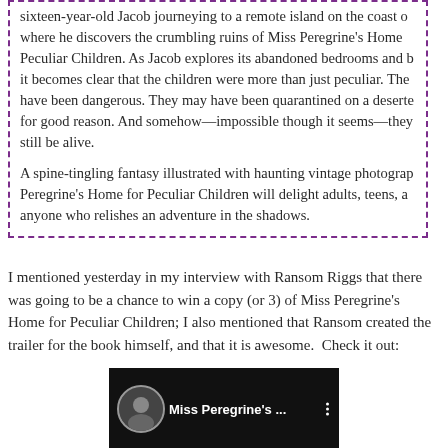sixteen-year-old Jacob journeying to a remote island on the coast of where he discovers the crumbling ruins of Miss Peregrine's Home Peculiar Children. As Jacob explores its abandoned bedrooms and b it becomes clear that the children were more than just peculiar. The have been dangerous. They may have been quarantined on a desert for good reason. And somehow—impossible though it seems—they still be alive.

A spine-tingling fantasy illustrated with haunting vintage photograp Peregrine's Home for Peculiar Children will delight adults, teens, a anyone who relishes an adventure in the shadows.
I mentioned yesterday in my interview with Ransom Riggs that there was going to be a chance to win a copy (or 3) of Miss Peregrine's Home for Peculiar Children; I also mentioned that Ransom created the trailer for the book himself, and that it is awesome.  Check it out:
[Figure (screenshot): Video thumbnail showing Miss Peregrine's Home for Peculiar Children trailer with a circular avatar image on left, title text 'Miss Peregrine's ...' in white on dark background, and a vertical three-dot menu icon on the right.]